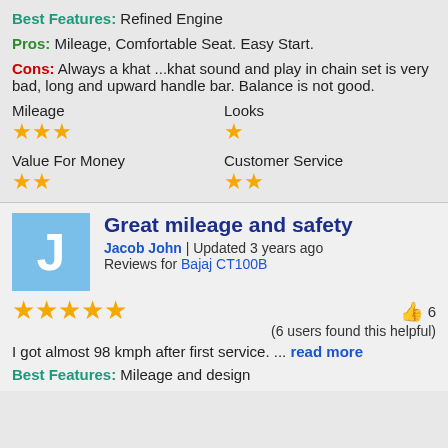Best Features: Refined Engine
Pros: Mileage, Comfortable Seat. Easy Start.
Cons: Always a khat ...khat sound and play in chain set is very bad, long and upward handle bar. Balance is not good.
Mileage ★★★   Looks ★   Value For Money ★★   Customer Service ★★
Great mileage and safety
Jacob John | Updated 3 years ago
Reviews for Bajaj CT100B
★★★★★  👍 6  (6 users found this helpful)
I got almost 98 kmph after first service. ... read more
Best Features: Mileage and design